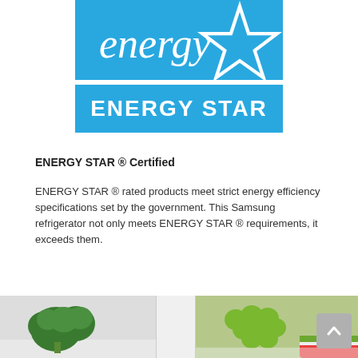[Figure (logo): ENERGY STAR logo — blue rectangle with white cursive 'energy' text and white outlined star shape on top; white dividing line; lower blue rectangle with bold white text 'ENERGY STAR']
ENERGY STAR ® Certified
ENERGY STAR ® rated products meet strict energy efficiency specifications set by the government. This Samsung refrigerator not only meets ENERGY STAR ® requirements, it exceeds them.
[Figure (photo): Bottom strip showing refrigerator interior contents: broccoli on the left, clear divider in the middle, and fruits (green grapes, possibly watermelon) on the right]